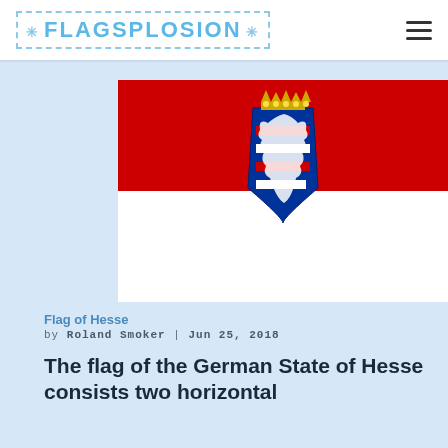FLAGSPLOSION
[Figure (illustration): Flag of Hesse: two horizontal stripes, red on top and white on bottom, with the coat of arms of Hesse (blue shield with red and white striped lion, gold crown) centered on the flag.]
Flag of Hesse
by Roland Smoker | Jun 25, 2018
The flag of the German State of Hesse consists two horizontal